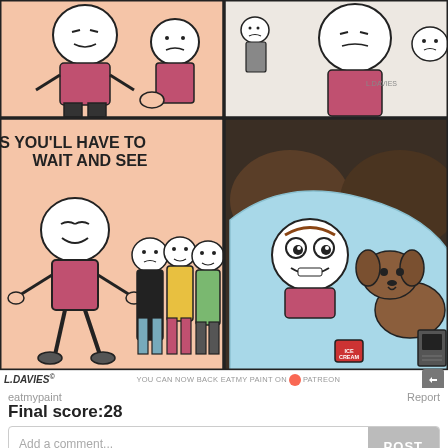[Figure (illustration): 4-panel webcomic strip. Top-left panel: two cartoon characters with round white heads, one in pink shirt. Top-right panel: similar characters, one smaller. Bottom-left panel: character in pink shirt gesturing with text 'GUESS YOU'LL HAVE TO WAIT AND SEE', with three other characters watching. Bottom-right panel: character under a light blue blanket with a dog, ice cream nearby, watching TV in a dark room.]
L.DAVIES
YOU CAN NOW BACK EATMY PAINT ON PATREON
eatmypaint
Report
Final score:28
Add a comment...
POST
Official NFL Gear
Get Your Favorite Team's Gear Here
www.nflshop.com